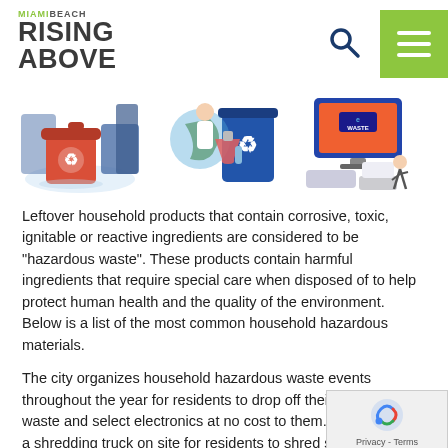MIAMI BEACH RISING ABOVE
[Figure (illustration): Three illustrations side by side: a red trash bin with recycling symbol and industrial background; a scientist with chemical flasks and a large recycling bin; an e-waste monitor with electronic devices.]
Leftover household products that contain corrosive, toxic, ignitable or reactive ingredients are considered to be "hazardous waste". These products contain harmful ingredients that require special care when disposed of to help protect human health and the quality of the environment. Below is a list of the most common household hazardous materials.
The city organizes household hazardous waste events throughout the year for residents to drop off their hazardous waste and select electronics at no cost to them. We also have a shredding truck on site for residents to shred sensitive